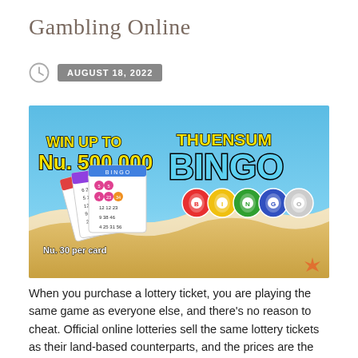Gambling Online
AUGUST 18, 2022
[Figure (illustration): Bingo lottery advertisement image showing bingo cards fanned out on a beach background with text 'WIN UP TO Nu. 500,000 THUENSUM BINGO' and colored BINGO balls, with 'Nu. 30 per card' text at bottom left.]
When you purchase a lottery ticket, you are playing the same game as everyone else, and there's no reason to cheat. Official online lotteries sell the same lottery tickets as their land-based counterparts, and the prices are the same. However, you'll be less likely to receive generous bonuses and promotions when you buy your lottery tickets online. In